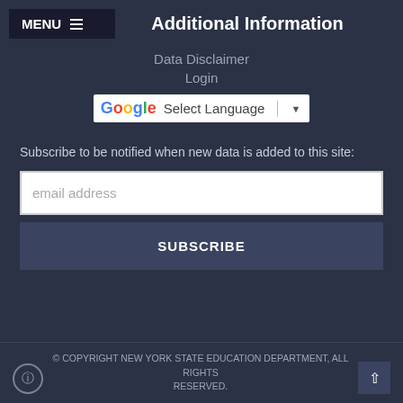MENU ≡
Additional Information
Data Disclaimer
Login
[Figure (screenshot): Google Translate widget with 'Select Language' dropdown]
Subscribe to be notified when new data is added to this site:
email address
SUBSCRIBE
© COPYRIGHT NEW YORK STATE EDUCATION DEPARTMENT, ALL RIGHTS RESERVED.